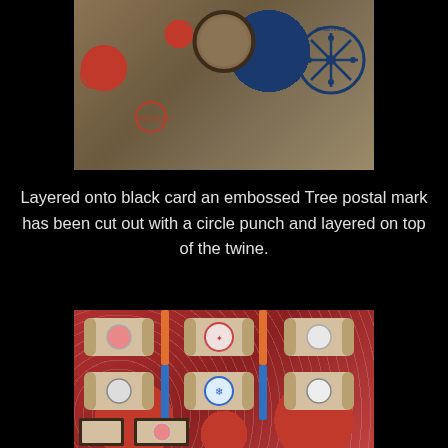[Figure (photo): Close-up photo of a kraft paper wrapped gift with various Christmas postal stamps in red, blue, and olive/gold colors, including a large blue snowflake postmark stamp. The package is tied with natural twine with a circular embossed Tree postal mark layered on top.]
Layered onto black card an embossed Tree postal mark has been cut out with a circle punch and layered on top of the twine.
[Figure (photo): Photo of six Christmas crackers made from kraft/brown paper, arranged in two rows of three on a red patterned background. Each cracker has a circular postal-style stamp medallion in the center. The crackers are tied with orange and blue ribbons. Cards with stamps are visible at the bottom.]